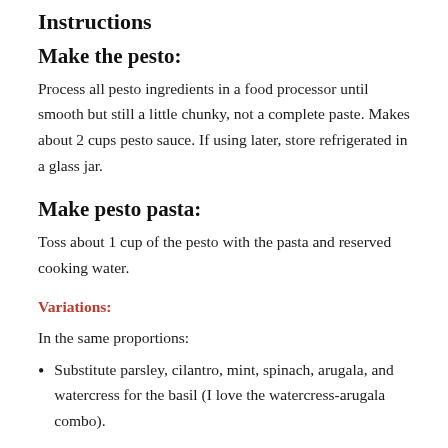Instructions
Make the pesto:
Process all pesto ingredients in a food processor until smooth but still a little chunky, not a complete paste. Makes about 2 cups pesto sauce. If using later, store refrigerated in a glass jar.
Make pesto pasta:
Toss about 1 cup of the pesto with the pasta and reserved cooking water.
Variations:
In the same proportions:
Substitute parsley, cilantro, mint, spinach, arugala, and watercress for the basil (I love the watercress-arugala combo).